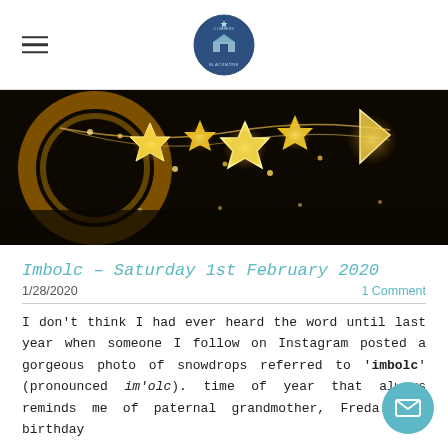[Hamburger menu icon] [Blackmore Climbers logo]
[Figure (photo): Dark background photo showing glowing golden fairy lights arranged as bunting/garlands with decorative star/snowflake shapes, likely at a festival or event]
Imbolc – Saturday 1st February 2020
1/28/2020	1 Comment
I don't think I had ever heard the word until last year when someone I follow on Instagram posted a gorgeous photo of snowdrops referred to 'imbolc' (pronounced im'olc). time of year that always reminds me of paternal grandmother, Freda. Her birthday